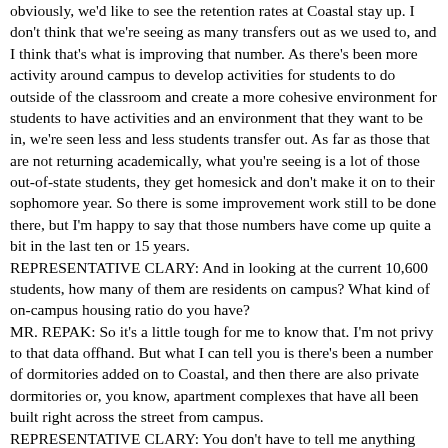obviously, we'd like to see the retention rates at Coastal stay up. I don't think that we're seeing as many transfers out as we used to, and I think that's what is improving that number. As there's been more activity around campus to develop activities for students to do outside of the classroom and create a more cohesive environment for students to have activities and an environment that they want to be in, we're seen less and less students transfer out. As far as those that are not returning academically, what you're seeing is a lot of those out-of-state students, they get homesick and don't make it on to their sophomore year. So there is some improvement work still to be done there, but I'm happy to say that those numbers have come up quite a bit in the last ten or 15 years.
REPRESENTATIVE CLARY: And in looking at the current 10,600 students, how many of them are residents on campus? What kind of on-campus housing ratio do you have?
MR. REPAK: So it's a little tough for me to know that. I'm not privy to that data offhand. But what I can tell you is there's been a number of dormitories added on to Coastal, and then there are also private dormitories or, you know, apartment complexes that have all been built right across the street from campus.
REPRESENTATIVE CLARY: You don't have to tell me anything about apartment complexes. I come from a place where we have plenty of them.
MR. REPAK: Yeah. So they're building up a ton of housing for those students.